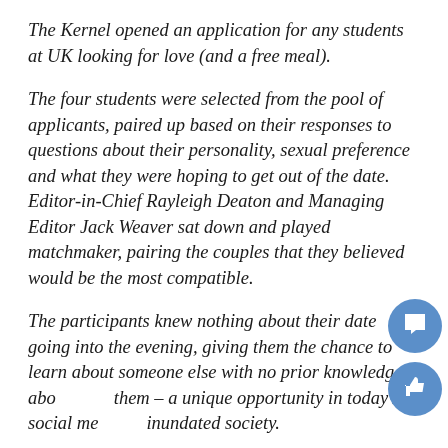The Kernel opened an application for any students at UK looking for love (and a free meal).
The four students were selected from the pool of applicants, paired up based on their responses to questions about their personality, sexual preference and what they were hoping to get out of the date. Editor-in-Chief Rayleigh Deaton and Managing Editor Jack Weaver sat down and played matchmaker, pairing the couples that they believed would be the most compatible.
The participants knew nothing about their date going into the evening, giving them the chance to learn about someone else with no prior knowledge about them – a unique opportunity in today's social media inundated society.